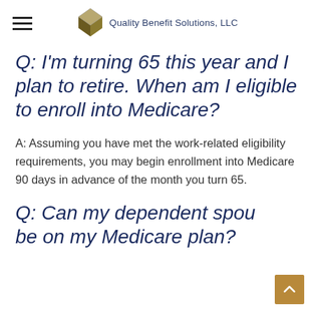Quality Benefit Solutions, LLC
Q: I'm turning 65 this year and I plan to retire. When am I eligible to enroll into Medicare?
A: Assuming you have met the work-related eligibility requirements, you may begin enrollment into Medicare 90 days in advance of the month you turn 65.
Q: Can my dependent spouse be on my Medicare plan?